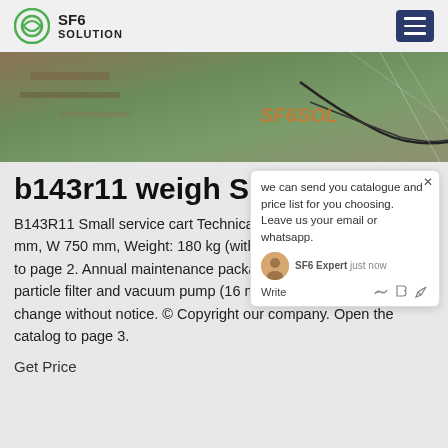SF6 SOLUTION
[Figure (photo): Outdoor ground-level photo showing cables and netting on grassy/muddy terrain, with SF6 Solution watermark overlay]
b143r11 weigh SF6
B143R11 Small service cart Technical Dimensions: L 690 mm, W 750 mm, Weight: 180 kg (without storage) catalog to page 2. Annual maintenance package for SF6 dry filter, particle filter and vacuum pump (16 m3/h) Subject to change without notice. © Copyright our company. Open the catalog to page 3.
Get Price